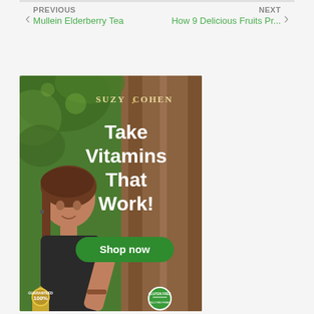PREVIOUS
Mullein Elderberry Tea
NEXT
How 9 Delicious Fruits Pr...
[Figure (photo): Suzy Cohen advertisement banner showing a woman smiling outdoors near a tree with text 'Take Vitamins That Work!' and a green 'Shop now' button, with 100% Guaranteed and Gluten Free badges at the bottom.]